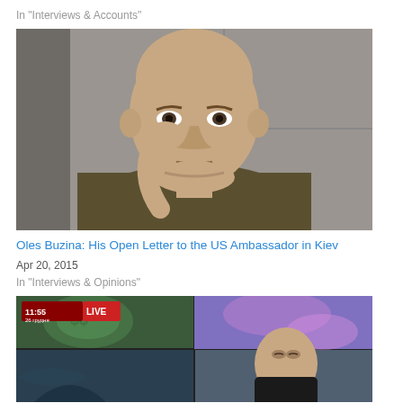In "Interviews & Accounts"
[Figure (photo): Bald middle-aged man in olive green sweater with hand raised to chin, seated indoors against grey paneled wall background]
Oles Buzina: His Open Letter to the US Ambassador in Kiev
Apr 20, 2015
In "Interviews & Opinions"
[Figure (screenshot): TV news broadcast screenshot showing LIVE banner with timestamp 11:55 26 грудня, split screen with man in black turtleneck and colorful background images]